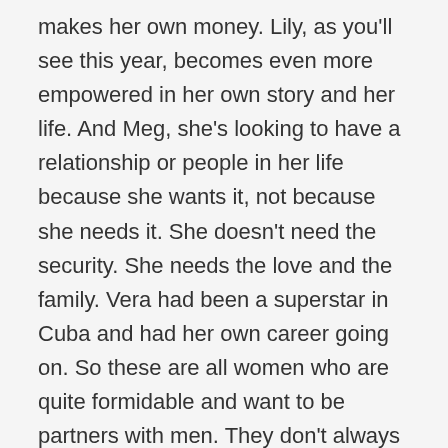makes her own money. Lily, as you'll see this year, becomes even more empowered in her own story and her life. And Meg, she's looking to have a relationship or people in her life because she wants it, not because she needs it. She doesn't need the security. She needs the love and the family. Vera had been a superstar in Cuba and had her own career going on. So these are all women who are quite formidable and want to be partners with men. They don't always get what they want, but they're asking for that. Mercedes, y'know, is becoming a young career woman, flying around the world on her own, but with the situation with her mom and not wanting to leave her dad all alone in the state that he's in, that changes her plans. But she's a foreshadowing of the '60s, really: the girl who's so young and kind of deciding to be a career woman. All these women are sort of self-possessed and have these things they want to do.